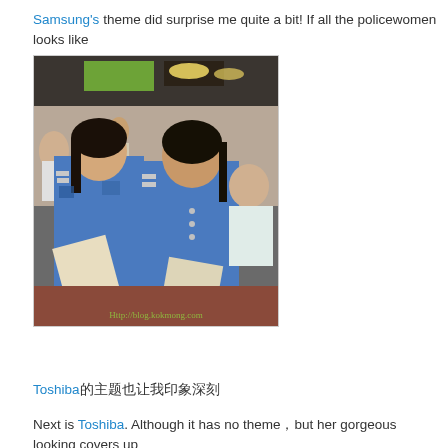Samsung's theme did surprise me quite a bit! If all the policewomen looks like catch me!  Hehe. :e:
[Figure (photo): Two young women in blue police-style uniforms with sergeant chevrons on shoulders, smiling, holding papers/pamphlets, standing in a crowded indoor venue. Watermark reads Http://blog.kokmong.com]
Toshiba的主题也让我印象深刻
Next is Toshiba. Although it has no theme, but her gorgeous looking covers up